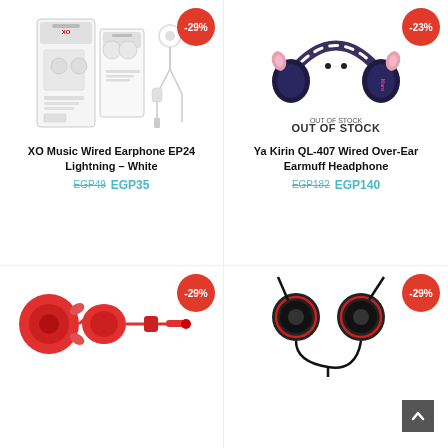[Figure (photo): XO Music Wired Earphone EP24 Lightning White product photo with packaging and earphones shown, -29% discount badge]
XO Music Wired Earphone EP24 Lightning – White
EGP49 EGP35
[Figure (photo): Ya Kirin QL-407 Wired Over-Ear Earmuff Headphone product photo, plush animal design, OUT OF STOCK, -23% discount badge]
Ya Kirin QL-407 Wired Over-Ear Earmuff Headphone
EGP182 EGP140
[Figure (photo): Red wired in-ear earphones with 3.5mm jack, -29% discount badge]
[Figure (photo): Black wired in-ear earphones, -29% discount badge]